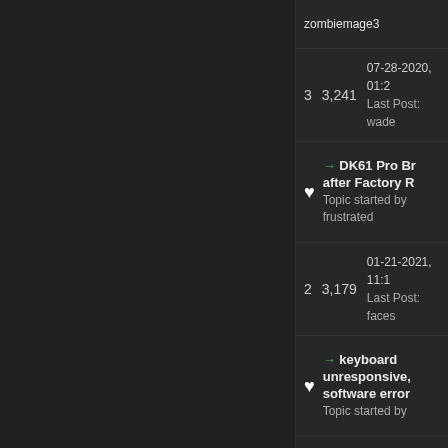zombiemage3
3  3,241  07-28-2020, 01:2  Last Post: wade
→ DK61 Pro Br after Factory R  Topic started by frustrated
2  3,179  01-21-2021, 11:1  Last Post: faces
→ keyboard unresponsive, software error  Topic started by
3  3,081  08-03-2020, 09:1  Last Post: wade
→ Wired DK61 dead  Topic started by